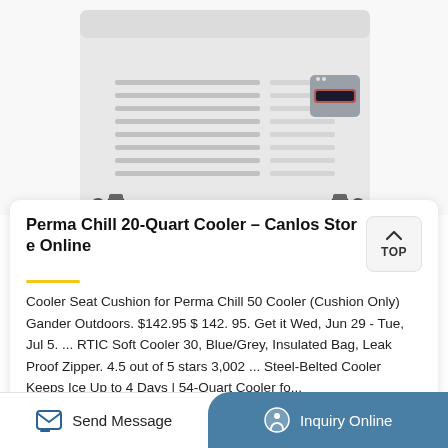[Figure (photo): Product photo of a Perma Chill 20-Quart Cooler — a light grey boxy appliance on caster wheels with horizontal vented slots on the front and a small digital control panel on the right side.]
Perma Chill 20-Quart Cooler – Canlos Store Online
Cooler Seat Cushion for Perma Chill 50 Cooler (Cushion Only) Gander Outdoors. $142.95 $ 142. 95. Get it Wed, Jun 29 - Tue, Jul 5. ... RTIC Soft Cooler 30, Blue/Grey, Insulated Bag, Leak Proof Zipper. 4.5 out of 5 stars 3,002 ... Steel-Belted Cooler Keeps Ice Up to 4 Days | 54-Quart Cooler fo...
Send Message
Inquiry Online